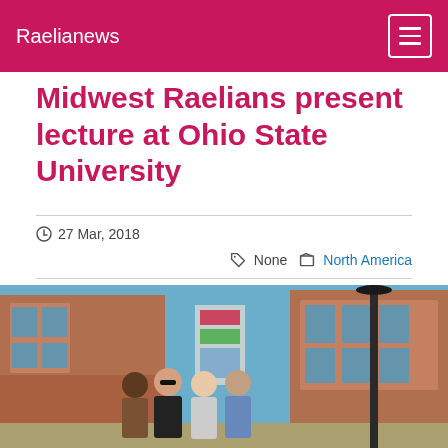Raelianews
Midwest Raelians present lecture at Ohio State University
27 Mar, 2018
None  North America
[Figure (photo): Four people posing outdoors in front of a brick university building with large windows on a clear blue-sky day. A black street lamp is visible to the right.]